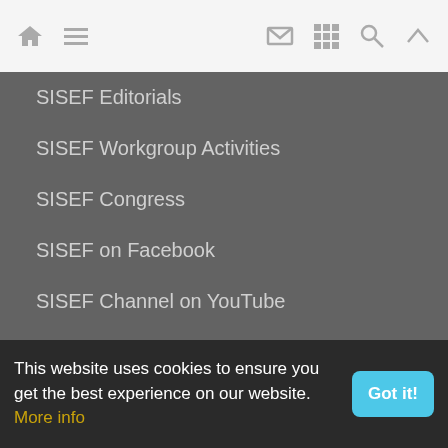Navigation bar with home, menu, email, grid, search, and up icons
SISEF Editorials
SISEF Workgroup Activities
SISEF Congress
SISEF on Facebook
SISEF Channel on YouTube
© iForest - All the material included on this site is distributed under the license Creative Commons Attribution-NonCommercial 4.0 International. iForest is the journal of the Italian Society of Silviculture and Forest Ecology (SISEF). Legal Notice.
This website uses cookies to ensure you get the best experience on our website. More info  Got it!